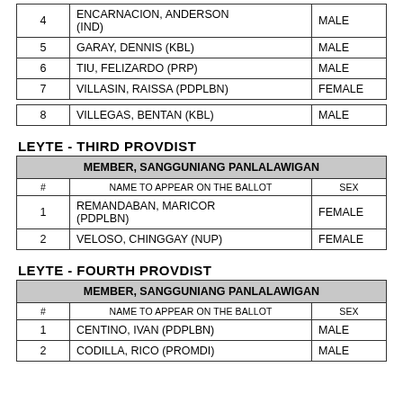| # | NAME TO APPEAR ON THE BALLOT | SEX |
| --- | --- | --- |
| 4 | ENCARNACION, ANDERSON (IND) | MALE |
| 5 | GARAY, DENNIS (KBL) | MALE |
| 6 | TIU, FELIZARDO (PRP) | MALE |
| 7 | VILLASIN, RAISSA (PDPLBN) | FEMALE |
| # | NAME TO APPEAR ON THE BALLOT | SEX |
| --- | --- | --- |
| 8 | VILLEGAS, BENTAN (KBL) | MALE |
LEYTE - THIRD PROVDIST
| MEMBER, SANGGUNIANG PANLALAWIGAN |  |  |
| --- | --- | --- |
| # | NAME TO APPEAR ON THE BALLOT | SEX |
| 1 | REMANDABAN, MARICOR (PDPLBN) | FEMALE |
| 2 | VELOSO, CHINGGAY (NUP) | FEMALE |
LEYTE - FOURTH PROVDIST
| MEMBER, SANGGUNIANG PANLALAWIGAN |  |  |
| --- | --- | --- |
| # | NAME TO APPEAR ON THE BALLOT | SEX |
| 1 | CENTINO, IVAN (PDPLBN) | MALE |
| 2 | CODILLA, RICO (PROMDI) | MALE |